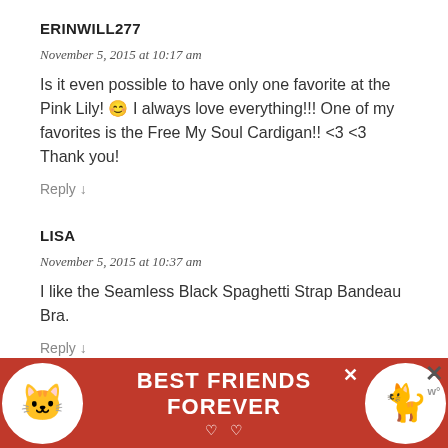ERINWILL277
November 5, 2015 at 10:17 am
Is it even possible to have only one favorite at the Pink Lily! 😊 I always love everything!!! One of my favorites is the Free My Soul Cardigan!! <3 <3 Thank you!
Reply ↓
LISA
November 5, 2015 at 10:37 am
I like the Seamless Black Spaghetti Strap Bandeau Bra.
Reply ↓
RENA
November 5, 2015 at 3:00
Th…
[Figure (photo): Advertisement banner with cats: BEST FRIENDS FOREVER on red background with cat images and close buttons]